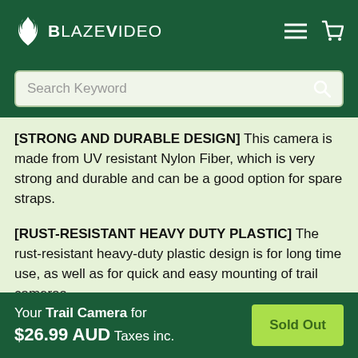BlazeVideo
[STRONG AND DURABLE DESIGN] This camera is made from UV resistant Nylon Fiber, which is very strong and durable and can be a good option for spare straps.
[RUST-RESISTANT HEAVY DUTY PLASTIC] The rust-resistant heavy-duty plastic design is for long time use, as well as for quick and easy mounting of trail cameras.
Your Trail Camera for $26.99 AUD Taxes inc. Sold Out